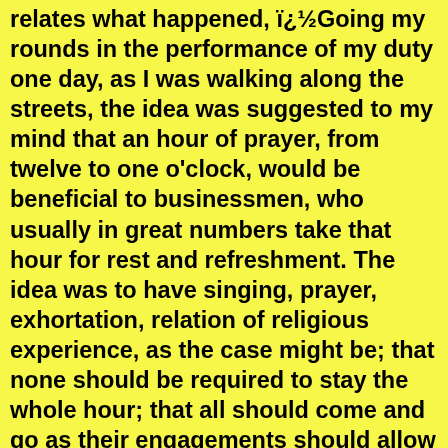relates what happened, ï¿½Going my rounds in the performance of my duty one day, as I was walking along the streets, the idea was suggested to my mind that an hour of prayer, from twelve to one o'clock, would be beneficial to businessmen, who usually in great numbers take that hour for rest and refreshment. The idea was to have singing, prayer, exhortation, relation of religious experience, as the case might be; that none should be required to stay the whole hour; that all should come and go as their engagements should allow or require, or their inclinations dictate. Arrangements were made, and at twelve o'clock noon, on the 23rd day of